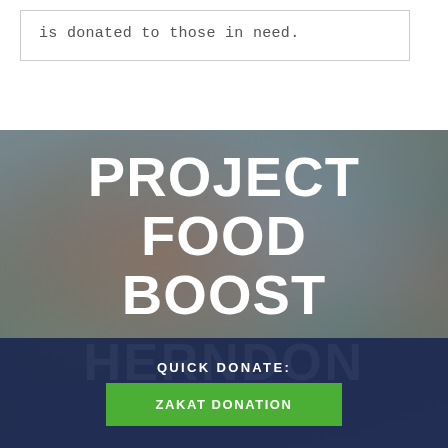is donated to those in need.
[Figure (photo): Blurred background photo of people at a food distribution event, with overlaid large white text reading PROJECT FOOD BOOST HERNDON]
PROJECT FOOD BOOST
HERNDON
QUICK DONATE:
ZAKAT DONATION